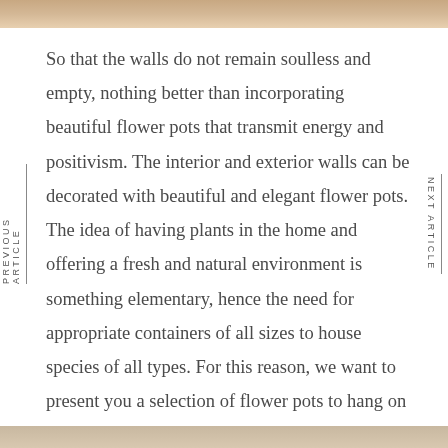[Figure (photo): Top portion of an image showing flowers or decorative items, partially cropped]
So that the walls do not remain soulless and empty, nothing better than incorporating beautiful flower pots that transmit energy and positivism. The interior and exterior walls can be decorated with beautiful and elegant flower pots. The idea of having plants in the home and offering a fresh and natural environment is something elementary, hence the need for appropriate containers of all sizes to house species of all types. For this reason, we want to present you a selection of flower pots to hang on the wall. They are available on Amazon.
[Figure (photo): Bottom portion of an image showing flowers or decorative items, partially cropped]